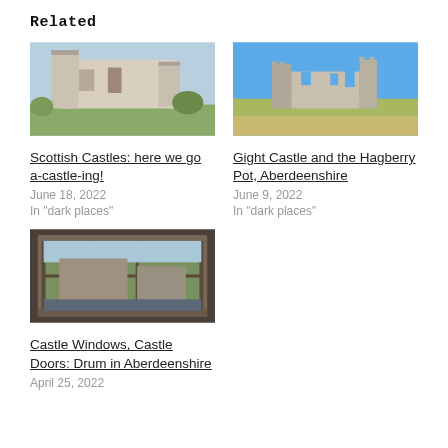Related
[Figure (photo): Exterior of a Scottish castle with towers and a lawn in front, under a blue sky.]
[Figure (photo): Ruins of Gight Castle with stone walls under a bright blue sky with grass fields.]
Scottish Castles: here we go a-castle-ing!
June 18, 2022
In "dark places"
Gight Castle and the Hagberry Pot, Aberdeenshire
June 9, 2022
In "dark places"
[Figure (photo): View through an old multi-pane window looking out over a castle courtyard.]
Castle Windows, Castle Doors: Drum in Aberdeenshire
April 25, 2022